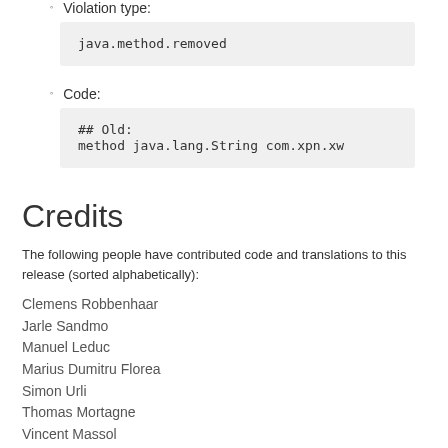Violation type:
java.method.removed
Code:
## Old:
method java.lang.String com.xpn.xw
Credits
The following people have contributed code and translations to this release (sorted alphabetically):
Clemens Robbenhaar
Jarle Sandmo
Manuel Leduc
Marius Dumitru Florea
Simon Urli
Thomas Mortagne
Vincent Massol